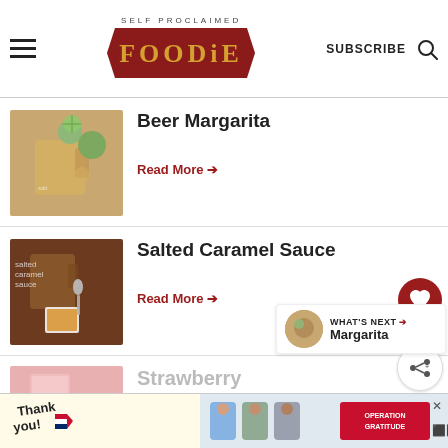SELF PROCLAIMED FOODIE — SUBSCRIBE
Beer Margarita
Read More →
Salted Caramel Sauce
Read More →
Strawberry Lemonade Whiskey
WHAT'S NEXT → Margarita
[Figure (photo): Advertisement banner with 'Thank you!' and Operation Gratitude branding]
1.3K